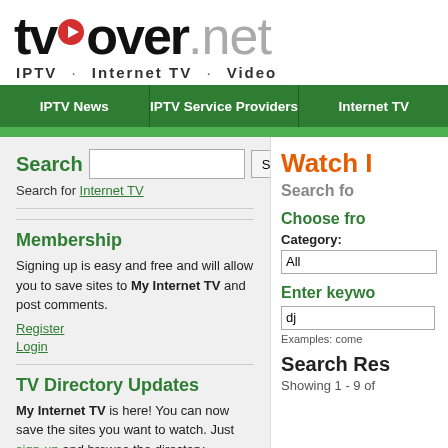[Figure (logo): tvover.net logo with red play button icon, tagline: IPTV · Internet TV · Video]
IPTV News | IPTV Service Providers | Internet TV
Search   Search for Internet TV
Membership
Signing up is easy and free and will allow you to save sites to My Internet TV and post comments.
Register
Login
TV Directory Updates
My Internet TV is here! You can now save the sites you want to watch. Just sign-up and browse the directory
Watch I
Search fo
Choose fro
Category:
All
Enter keywo
dj
Examples: come
Search Res
Showing 1 - 9 of